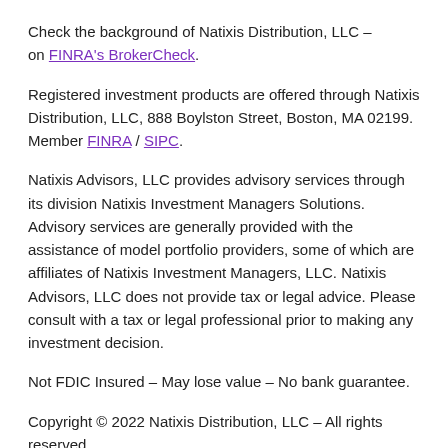Check the background of Natixis Distribution, LLC – on FINRA's BrokerCheck.
Registered investment products are offered through Natixis Distribution, LLC, 888 Boylston Street, Boston, MA 02199. Member FINRA / SIPC.
Natixis Advisors, LLC provides advisory services through its division Natixis Investment Managers Solutions. Advisory services are generally provided with the assistance of model portfolio providers, some of which are affiliates of Natixis Investment Managers, LLC. Natixis Advisors, LLC does not provide tax or legal advice. Please consult with a tax or legal professional prior to making any investment decision.
Not FDIC Insured – May lose value – No bank guarantee.
Copyright © 2022 Natixis Distribution, LLC – All rights reserved.